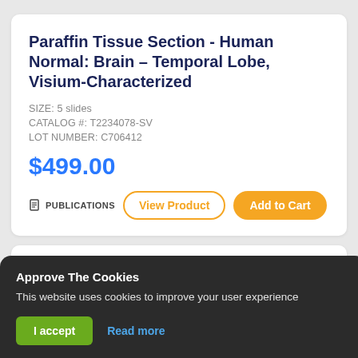Paraffin Tissue Section - Human Normal: Brain – Temporal Lobe, Visium-Characterized
SIZE: 5 slides
CATALOG #: T2234078-SV
LOT NUMBER: C706412
$499.00
PUBLICATIONS  View Product  Add to Cart
Approve The Cookies
This website uses cookies to improve your user experience
I accept  Read more